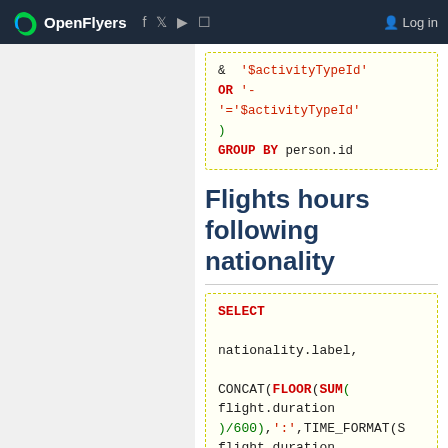OpenFlyers | Log in
Flights hours following nationality